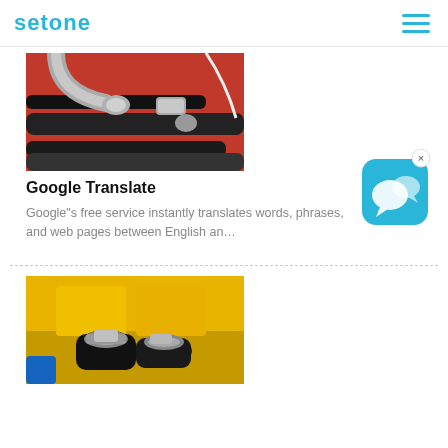setone
[Figure (photo): Hydraulic hoses with metal fittings on red background]
Google Translate
Google"s free service instantly translates words, phrases, and web pages between English an…
[Figure (screenshot): Chat app icon - blue rounded square with chat bubble icons and X close button]
[Figure (photo): Industrial hydraulic hoses with metal clamps on yellow machinery background]